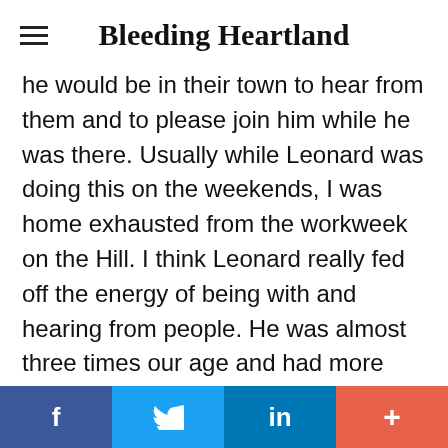Bleeding Heartland
he would be in their town to hear from them and to please join him while he was there. Usually while Leonard was doing this on the weekends, I was home exhausted from the workweek on the Hill. I think Leonard really fed off the energy of being with and hearing from people. He was almost three times our age and had more stamina than we did.

What made Leonard's Listening Posts
f  [Twitter bird]  in  +